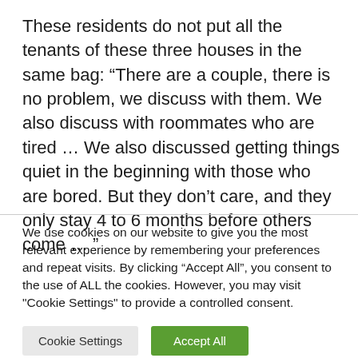These residents do not put all the tenants of these three houses in the same bag: “There are a couple, there is no problem, we discuss with them. We also discuss with roommates who are tired … We also discussed getting things quiet in the beginning with those who are bored. But they don’t care, and they only stay 4 to 6 months before others come … ”
We use cookies on our website to give you the most relevant experience by remembering your preferences and repeat visits. By clicking “Accept All”, you consent to the use of ALL the cookies. However, you may visit "Cookie Settings" to provide a controlled consent.